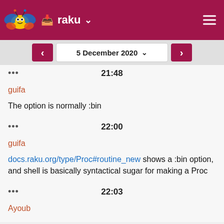raku
5 December 2020
... 21:48
guifa
The option is normally :bin
... 22:00
guifa
docs.raku.org/type/Proc#routine_new shows a :bin option, and shell is basically syntactical sugar for making a Proc
... 22:03
Ayoub